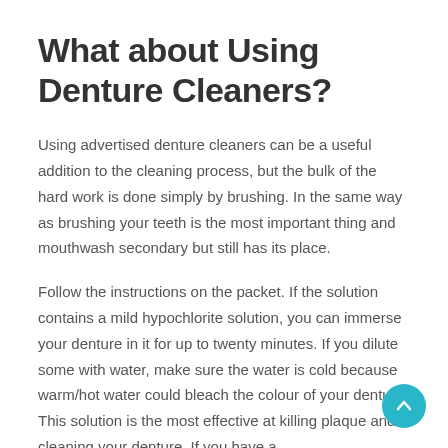What about Using Denture Cleaners?
Using advertised denture cleaners can be a useful addition to the cleaning process, but the bulk of the hard work is done simply by brushing. In the same way as brushing your teeth is the most important thing and mouthwash secondary but still has its place.
Follow the instructions on the packet. If the solution contains a mild hypochlorite solution, you can immerse your denture in it for up to twenty minutes. If you dilute some with water, make sure the water is cold because warm/hot water could bleach the colour of your denture. This solution is the most effective at killing plaque and cleaning your denture. If you have a